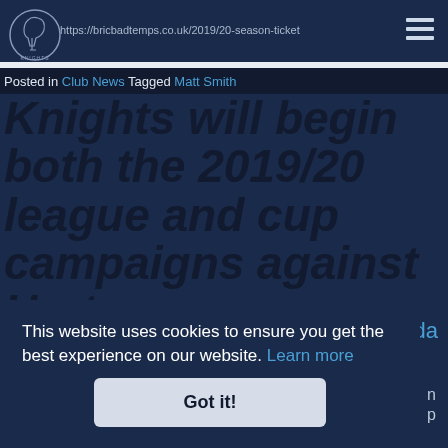https://bcicbadtemps.co.uk/2019/20-season-ticket
Posted in Club News Tagged Matt Smith
Knights will begin both the 2019/20 league and cup campaigns against Hartpury
This website uses cookies to ensure you get the best experience on our website. Learn more
Got it!